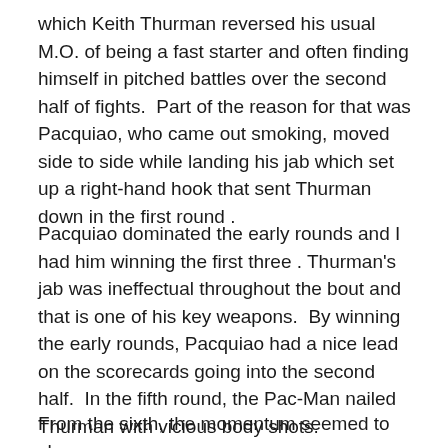which Keith Thurman reversed his usual M.O. of being a fast starter and often finding himself in pitched battles over the second half of fights.  Part of the reason for that was Pacquiao, who came out smoking, moved side to side while landing his jab which set up a right-hand hook that sent Thurman down in the first round .
Pacquiao dominated the early rounds and I had him winning the first three . Thurman's jab was ineffectual throughout the bout and that is one of his key weapons.  By winning the early rounds, Pacquiao had a nice lead on the scorecards going into the second half.  In the fifth round, the Pac-Man nailed Thurman with vicious body shots.
From the sixth, the momentum seemed to change as